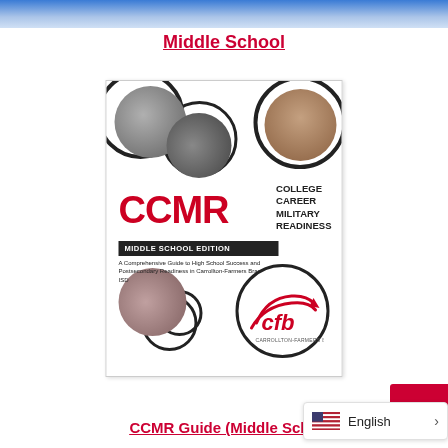[Figure (photo): Top banner photo showing students/people in a school setting with blue tones]
Middle School
[Figure (illustration): CCMR Middle School Edition book cover. Features photos of students in circles, large red CCMR text, subtitle 'College Career Military Readiness', 'Middle School Edition' banner, guide description text, bottom-left student photo circles, CFB logo circle bottom-right on white background.]
CCMR Guide (Middle Scho...